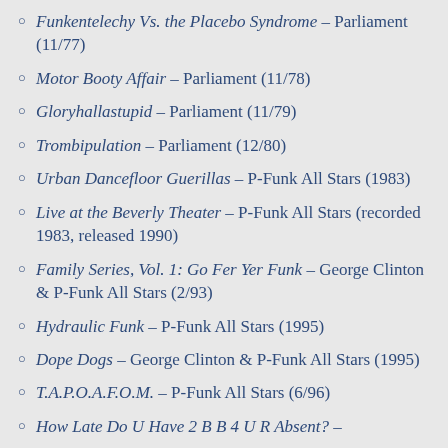Funkentelechy Vs. the Placebo Syndrome – Parliament (11/77)
Motor Booty Affair – Parliament (11/78)
Gloryhallastupid – Parliament (11/79)
Trombipulation – Parliament (12/80)
Urban Dancefloor Guerillas – P-Funk All Stars (1983)
Live at the Beverly Theater – P-Funk All Stars (recorded 1983, released 1990)
Family Series, Vol. 1: Go Fer Yer Funk – George Clinton & P-Funk All Stars (2/93)
Hydraulic Funk – P-Funk All Stars (1995)
Dope Dogs – George Clinton & P-Funk All Stars (1995)
T.A.P.O.A.F.O.M. – P-Funk All Stars (6/96)
How Late Do U Have 2 B B 4 U R Absent? –